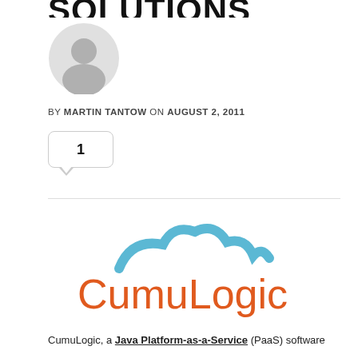SOLUTIONS
[Figure (illustration): Gray circular avatar/profile icon placeholder]
BY MARTIN TANTOW ON AUGUST 2, 2011
1
[Figure (logo): CumuLogic logo with blue cloud arc above orange CumuLogic text]
CumuLogic, a Java Platform-as-a-Service (PaaS) software